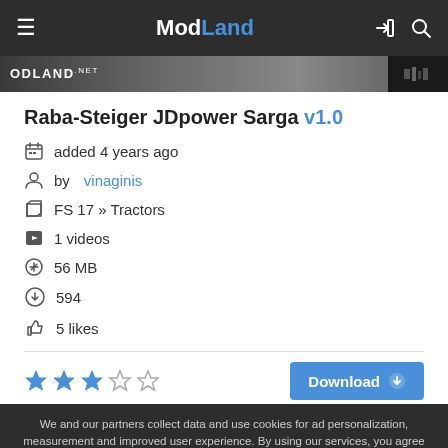ModLand
[Figure (screenshot): Partial image of a tractor mod with ODLAND.NET watermark visible]
Raba-Steiger JDpower Sarga v1.0
added 4 years ago
by vinaginis
FS 17 » Tractors
1 videos
56 MB
594
5 likes
[Figure (infographic): 3 filled blue stars and 2 empty grey stars rating display]
Download button
We and our partners collect data and use cookies for ad personalization, measurement and improved user experience. By using our services, you agree to use of cookies by this site and our partners. Learn how ModLand.net and our partners collect and use data. Learn more
Okay